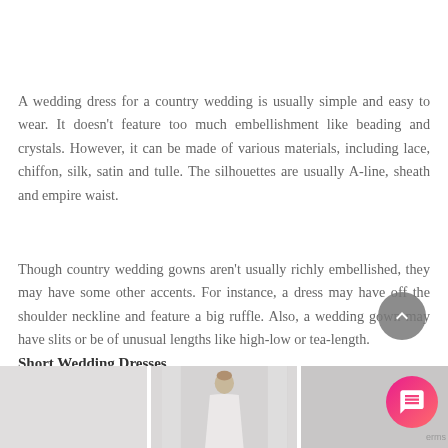A wedding dress for a country wedding is usually simple and easy to wear. It doesn't feature too much embellishment like beading and crystals. However, it can be made of various materials, including lace, chiffon, silk, satin and tulle. The silhouettes are usually A-line, sheath and empire waist.
Though country wedding gowns aren't usually richly embellished, they may have some other accents. For instance, a dress may have off the shoulder neckline and feature a big ruffle. Also, a wedding gown may have slits or be of unusual lengths like high-low or tea-length.
Short Wedding Dresses
[Figure (photo): Three wedding dress photos shown at the bottom of the page, partially cropped]